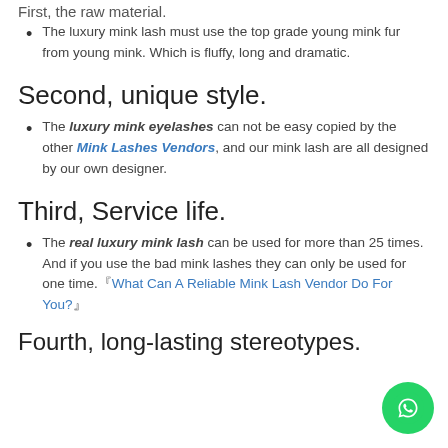First, the raw material.
The luxury mink lash must use the top grade young mink fur from young mink. Which is fluffy, long and dramatic.
Second, unique style.
The luxury mink eyelashes can not be easy copied by the other Mink Lashes Vendors, and our mink lash are all designed by our own designer.
Third, Service life.
The real luxury mink lash can be used for more than 25 times. And if you use the bad mink lashes they can only be used for one time.『What Can A Reliable Mink Lash Vendor Do For You?』
Fourth, long-lasting stereotypes.